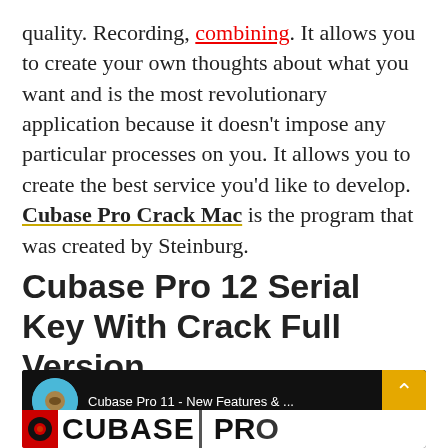quality. Recording, combining. It allows you to create your own thoughts about what you want and is the most revolutionary application because it doesn't impose any particular processes on you. It allows you to create the best service you'd like to develop. Cubase Pro Crack Mac is the program that was created by Steinburg.
Cubase Pro 12 Serial Key With Crack Full Version
[Figure (screenshot): YouTube video thumbnail showing Cubase Pro 11 - New Features & ... with Vintique Sound channel logo, dark background, yellow arrow box in top right, and large CUBASE PRO text at bottom]